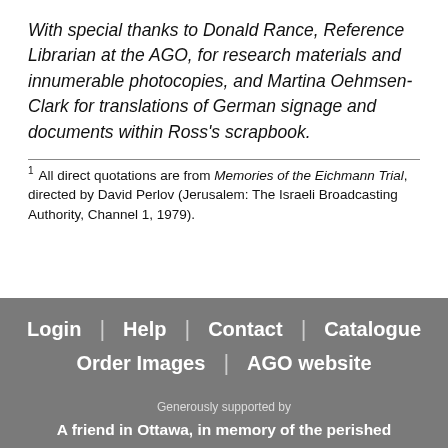With special thanks to Donald Rance, Reference Librarian at the AGO, for research materials and innumerable photocopies, and Martina Oehmsen-Clark for translations of German signage and documents within Ross's scrapbook.
1 All direct quotations are from Memories of the Eichmann Trial, directed by David Perlov (Jerusalem: The Israeli Broadcasting Authority, Channel 1, 1979).
Login | Help | Contact | Catalogue | Order Images | AGO website
Generously supported by
A friend in Ottawa, in memory of the perished
The Cyril & Dorothy, Joel & Jill Reitman Family Foundation